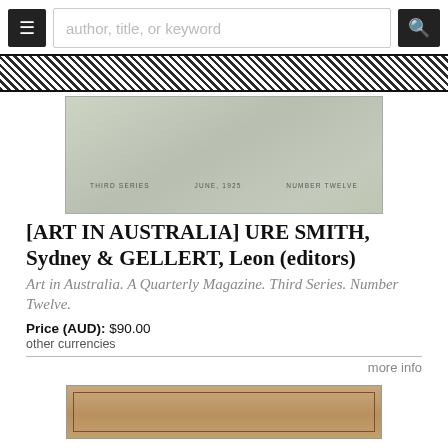[Figure (screenshot): Navigation bar with hamburger menu button, search input placeholder 'author, title, or keyword', and search icon button]
[Figure (photo): Book cover image: light greenish-gray cover with text 'THIRD SERIES', 'JUNE, 1925', 'NUMBER TWELVE']
[ART IN AUSTRALIA] URE SMITH, Sydney & GELLERT, Leon (editors)
Art in Australia. A Quarterly Magazine. Third Series. Number Twelve.
Price (AUD): $90.00
other currencies
more info
[Figure (photo): Partial view of another book cover with decorative reddish-brown pattern on tan/cream background]